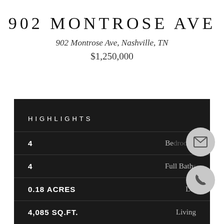902 MONTROSE AVE
902 Montrose Ave, Nashville, TN
$1,250,000
HIGHLIGHTS
| Value | Label |
| --- | --- |
| 4 | Bedrooms |
| 4 | Full Baths |
| 0.18 ACRES | Lot |
| 4,085 SQ.FT. | Living |